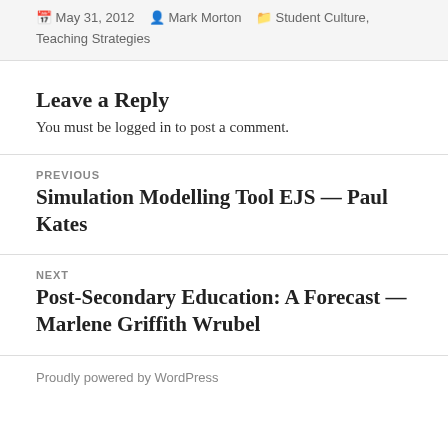May 31, 2012  Mark Morton  Student Culture, Teaching Strategies
Leave a Reply
You must be logged in to post a comment.
PREVIOUS
Simulation Modelling Tool EJS — Paul Kates
NEXT
Post-Secondary Education: A Forecast — Marlene Griffith Wrubel
Proudly powered by WordPress